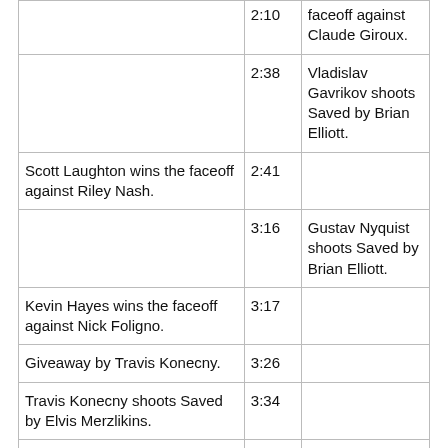| Event | Time | Detail |
| --- | --- | --- |
|  | 2:10 (partial) | faceoff against Claude Giroux. |
|  | 2:38 | Vladislav Gavrikov shoots Saved by Brian Elliott. |
| Scott Laughton wins the faceoff against Riley Nash. | 2:41 |  |
|  | 3:16 | Gustav Nyquist shoots Saved by Brian Elliott. |
| Kevin Hayes wins the faceoff against Nick Foligno. | 3:17 |  |
| Giveaway by Travis Konecny. | 3:26 |  |
| Travis Konecny shoots Saved by Elvis Merzlikins. | 3:34 |  |
| Kevin Hayes scores. | 3:51 |  |